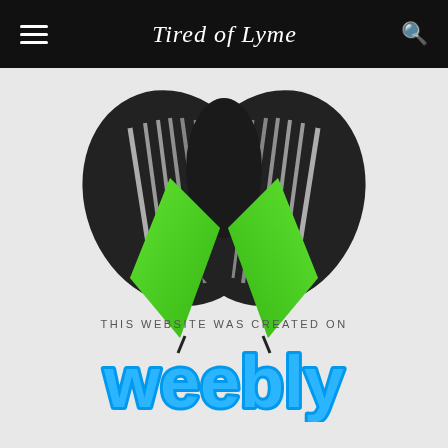Tired of Lyme
[Figure (illustration): Lyme disease awareness illustration showing a tick-like figure with black wings/legs and a green ribbon (crossed diamond shape) in the center, on a light gray background]
THIS WEBSITE WAS CREATED ON
[Figure (logo): Weebly logo in blue with rounded font and thick stroke outline]